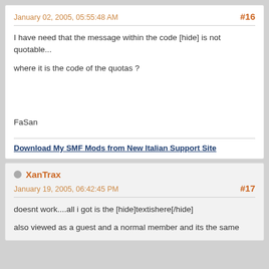January 02, 2005, 05:55:48 AM
#16
I have need that the message within the code [hide] is not quotable...
where it is the code of the quotas ?
FaSan
Download My SMF Mods from New Italian Support Site
XanTrax
January 19, 2005, 06:42:45 PM
#17
doesnt work....all i got is the [hide]textishere[/hide]
also viewed as a guest and a normal member and its the same